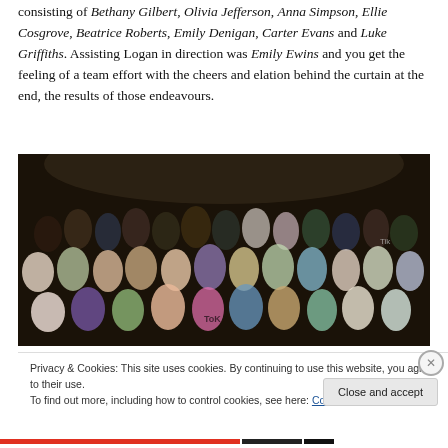consisting of Bethany Gilbert, Olivia Jefferson, Anna Simpson, Ellie Cosgrove, Beatrice Roberts, Emily Denigan, Carter Evans and Luke Griffiths. Assisting Logan in direction was Emily Ewins and you get the feeling of a team effort with the cheers and elation behind the curtain at the end, the results of those endeavours.
[Figure (photo): Group photo of a large cast of young performers in costume on a stage, posed in multiple rows against a dark theatrical backdrop.]
Privacy & Cookies: This site uses cookies. By continuing to use this website, you agree to their use.
To find out more, including how to control cookies, see here: Cookie Policy